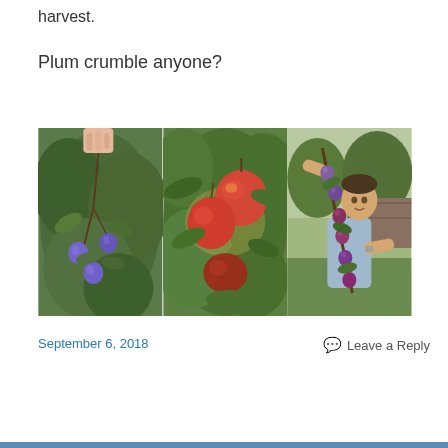harvest.
Plum crumble anyone?
[Figure (photo): Three photos side by side: left shows blue plums on a branch held by a hand, center shows red apples on a tree branch, right shows a man holding a long branch of plums in a garden.]
September 6, 2018
Leave a Reply